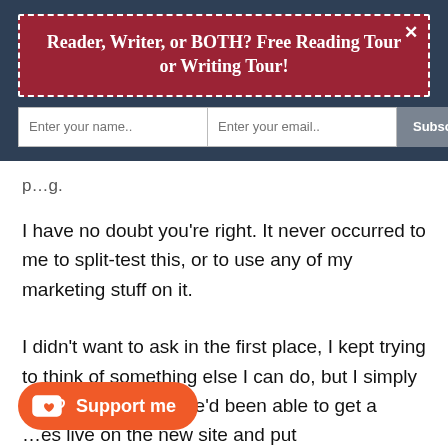Reader, Writer, or BOTH? Free Reading Tour or Writing Tour!
Enter your name..  Enter your email..  Subscribe Now
I have no doubt you're right. It never occurred to me to split-test this, or to use any of my marketing stuff on it.
I didn't want to ask in the first place, I kept trying to think of something else I can do, but I simply didn't have time. If we'd been able to get a ...es live on the new site and put together little launches for them in the time we
Support me